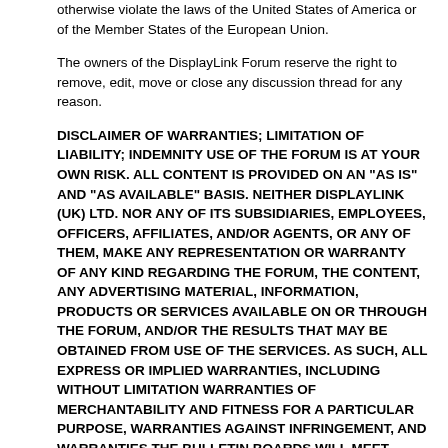otherwise violate the laws of the United States of America or of the Member States of the European Union.
The owners of the DisplayLink Forum reserve the right to remove, edit, move or close any discussion thread for any reason.
DISCLAIMER OF WARRANTIES; LIMITATION OF LIABILITY; INDEMNITY USE OF THE FORUM IS AT YOUR OWN RISK. ALL CONTENT IS PROVIDED ON AN "AS IS" AND "AS AVAILABLE" BASIS. NEITHER DISPLAYLINK (UK) LTD. NOR ANY OF ITS SUBSIDIARIES, EMPLOYEES, OFFICERS, AFFILIATES, AND/OR AGENTS, OR ANY OF THEM, MAKE ANY REPRESENTATION OR WARRANTY OF ANY KIND REGARDING THE FORUM, THE CONTENT, ANY ADVERTISING MATERIAL, INFORMATION, PRODUCTS OR SERVICES AVAILABLE ON OR THROUGH THE FORUM, AND/OR THE RESULTS THAT MAY BE OBTAINED FROM USE OF THE SERVICES. AS SUCH, ALL EXPRESS OR IMPLIED WARRANTIES, INCLUDING WITHOUT LIMITATION WARRANTIES OF MERCHANTABILITY AND FITNESS FOR A PARTICULAR PURPOSE, WARRANTIES AGAINST INFRINGEMENT, AND WARRANTIES THE BULLETIN BOARDS WILL MEET YOUR REQUIREMENTS, BE UNINTERRUPTED, TIMELY, SECURE OR ERROR FREE, ARE SPECIFICALLY DISCLAIMED. THE DISPLAYLINK CORP, ITS SUBSIDIARIES, OFFICERS, EMPLOYEES